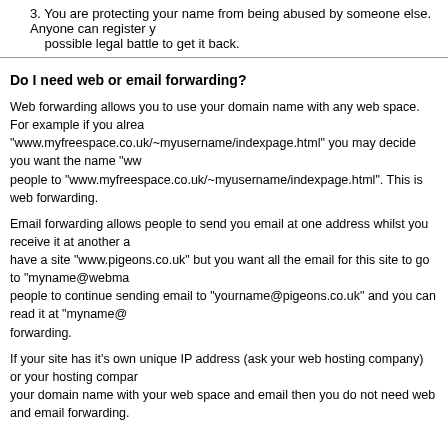3. You are protecting your name from being abused by someone else. Anyone can register your name and then you could face a possible legal battle to get it back.
Do I need web or email forwarding?
Web forwarding allows you to use your domain name with any web space. For example if you already have space at "www.myfreespace.co.uk/~myusername/indexpage.html" you may decide you want the name "www.yourdomain.co.uk" to point people to "www.myfreespace.co.uk/~myusername/indexpage.html". This is web forwarding.
Email forwarding allows people to send you email at one address whilst you receive it at another address. For example you may have a site "www.pigeons.co.uk" but you want all the email for this site to go to "myname@webmail.co.uk". You can allow people to continue sending email to "yourname@pigeons.co.uk" and you can read it at "myname@webmail.co.uk". This is email forwarding.
If your site has it's own unique IP address (ask your web hosting company) or your hosting company supports host headers to link your domain name with your web space and email then you do not need web and email forwarding.
Can I register a domain name in another country?
Yes, subject to the same limitations about company names and brand names. We will be happy to advise you on this. Please call us or email us with your requirements.
Can I register a brand-name?
If it is your brand-name then yes. However it is your responsibility to make sure that you do not infringe on the rights of another company or individual.